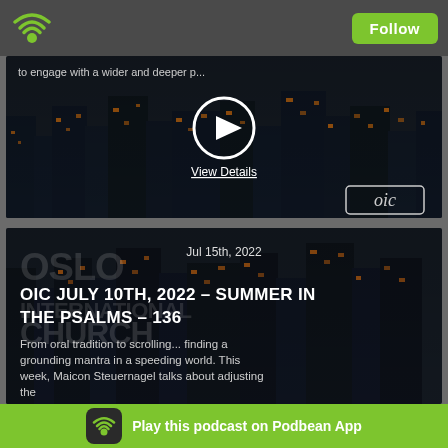Follow
[Figure (screenshot): Podcast card with city night background, play button, View Details link, and OIC logo]
to engage with a wider and deeper p...
View Details
[Figure (screenshot): OIC podcast card: Jul 15th, 2022 - OIC JULY 10TH, 2022 – SUMMER IN THE PSALMS – 136. From oral tradition to scrolling... finding a grounding mantra in a speeding world. This week, Maicon Steuernagel talks about adjusting the]
Jul 15th, 2022
OIC JULY 10TH, 2022 – SUMMER IN THE PSALMS – 136
From oral tradition to scrolling... finding a grounding mantra in a speeding world.  This week, Maicon Steuernagel talks about adjusting the
Play this podcast on Podbean App